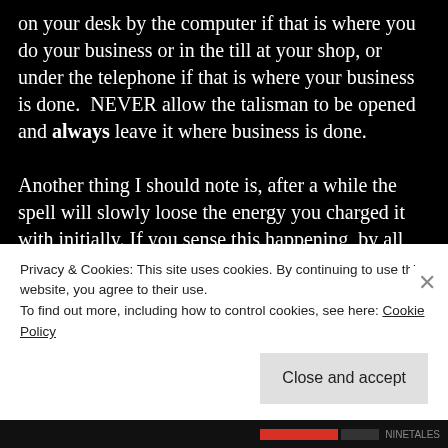on your desk by the computer if that is where you do your business or in the till at your shop, or under the telephone if that is where your business is done.  NEVER allow the talisman to be opened and always leave it where business is done.

Another thing I should note is, after a while the spell will slowly loose the energy you charged it with initially. If you sense this happening, by all means, repeat the spell.  All spell work needs a re-charge from time to time...there is no set number of months or years one will last on its own. Simply
Privacy & Cookies: This site uses cookies. By continuing to use this website, you agree to their use.
To find out more, including how to control cookies, see here: Cookie Policy